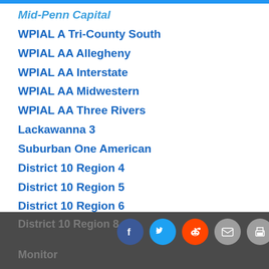Mid-Penn Capital
WPIAL A Tri-County South
WPIAL AA Allegheny
WPIAL AA Interstate
WPIAL AA Midwestern
WPIAL AA Three Rivers
Lackawanna 3
Suburban One American
District 10 Region 4
District 10 Region 5
District 10 Region 6
District 10 Region 7
District 10 Region 8  Monitor